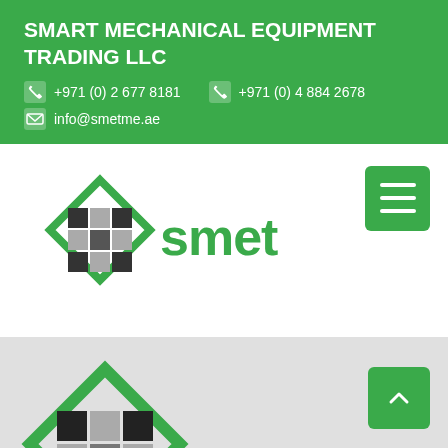SMART MECHANICAL EQUIPMENT TRADING LLC
+971 (0) 2 677 8181   +971 (0) 4 884 2678
info@smetme.ae
[Figure (logo): SMET logo: diamond-shaped geometric icon in green and black with 'smet' text in green, shown in navigation bar with hamburger menu button]
[Figure (logo): SMET logo large version: diamond-shaped geometric icon in green and black with large 'smet' text in green, shown on gray background with upward scroll button]